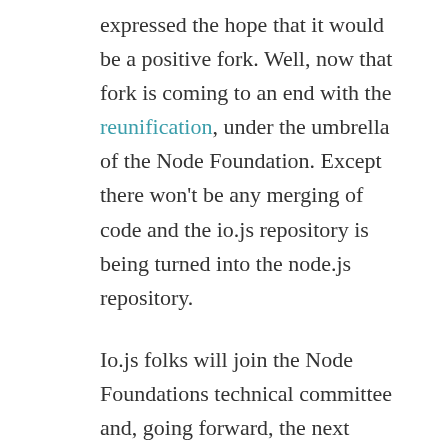expressed the hope that it would be a positive fork. Well, now that fork is coming to an end with the reunification, under the umbrella of the Node Foundation. Except there won't be any merging of code and the io.js repository is being turned into the node.js repository.
Io.js folks will join the Node Foundations technical committee and, going forward, the next Node.js will be based on Io.js code. It's well done to Io.js for taking action and making good practical and solid engineering steps that made it practically a no-brainer to take Node.js forward. We don't seem to be completely done yet. The structure for future releases and development still needs nailing down.
So here's looking forward to the next two releases